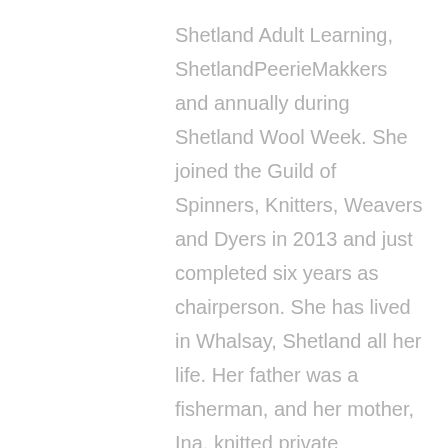Shetland Adult Learning, ShetlandPeerieMakkers and annually during Shetland Wool Week. She joined the Guild of Spinners, Knitters, Weavers and Dyers in 2013 and just completed six years as chairperson. She has lived in Whalsay, Shetland all her life. Her father was a fisherman, and her mother, Ina, knitted private commissions to supplement the family income and was also a keen spinner and knitter.